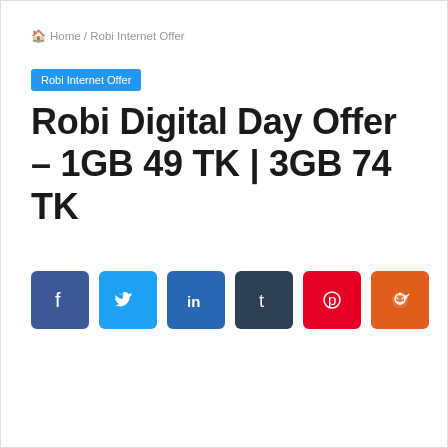🏠 Home / Robi Internet Offer
Robi Internet Offer
Robi Digital Day Offer – 1GB 49 TK | 3GB 74 TK
[Figure (other): Row of social media share buttons: Facebook, Twitter, LinkedIn, Tumblr, Pinterest, Reddit]